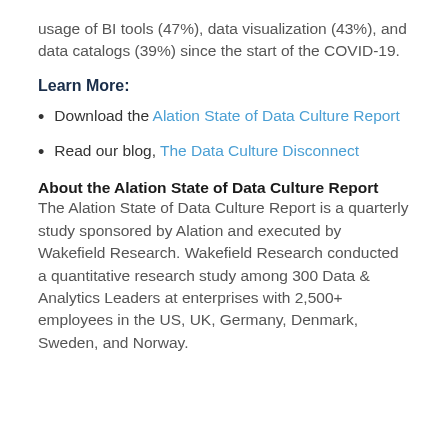usage of BI tools (47%), data visualization (43%), and data catalogs (39%) since the start of the COVID-19.
Learn More:
Download the Alation State of Data Culture Report
Read our blog, The Data Culture Disconnect
About the Alation State of Data Culture Report The Alation State of Data Culture Report is a quarterly study sponsored by Alation and executed by Wakefield Research. Wakefield Research conducted a quantitative research study among 300 Data & Analytics Leaders at enterprises with 2,500+ employees in the US, UK, Germany, Denmark, Sweden, and Norway.